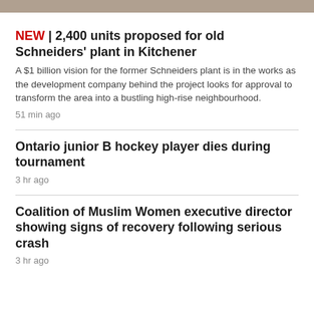[Figure (photo): A narrow horizontal image strip at the top of the page, showing an outdoor scene (appears to be a street or building exterior).]
NEW | 2,400 units proposed for old Schneiders' plant in Kitchener
A $1 billion vision for the former Schneiders plant is in the works as the development company behind the project looks for approval to transform the area into a bustling high-rise neighbourhood.
51 min ago
Ontario junior B hockey player dies during tournament
3 hr ago
Coalition of Muslim Women executive director showing signs of recovery following serious crash
3 hr ago